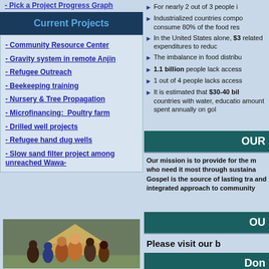- Pick a Project Progress Graph
Current Projects
- Community Resource Center
- Gravity system in remote Anjin
- Refugee Outreach
- Beekeeping training
- Nursery & Tree Propagation
- Microfinancing:  Poultry farm
- Drilled well projects
- Refugee hand dug wells
- Slow sand filter project among unreached Wawa-
[Figure (photo): Group photo of missionaries with African children and adults in front of a thatched hut]
For nearly 2 out of 3 people i
Industrialized countries compo consume 80% of the food res
In the United States alone, $3 related expenditures to reduc
The imbalance in food distrib
1.1 billion people lack acces
1 out of 4 people lacks acces
It is estimated that $30-40 bil countries with water, educati amount spent annually on gol
OUR
Our mission is to provide for the m who need it most through sustaina Gospel is the source of lasting tra and integrated approach to community
OU
Please visit our b
Don